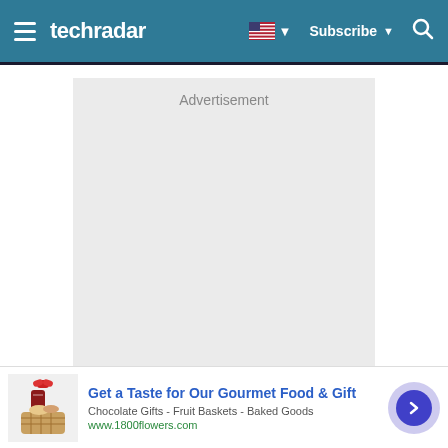techradar | Subscribe
[Figure (other): Large empty advertisement placeholder box with 'Advertisement' label, light gray background]
[Figure (other): Bottom banner ad for 1800flowers.com: 'Get a Taste for Our Gourmet Food & Gift' with gift basket image, subtitle 'Chocolate Gifts - Fruit Baskets - Baked Goods', URL www.1800flowers.com, blue circle arrow button on right]